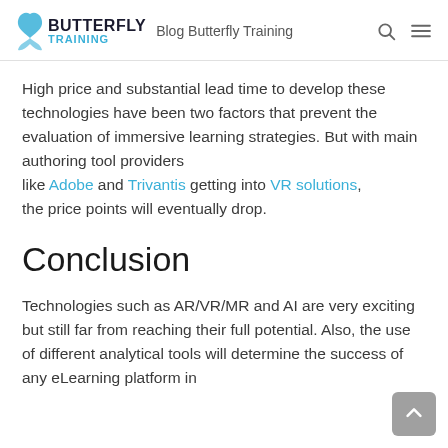BUTTERFLY TRAINING  Blog Butterfly Training
High price and substantial lead time to develop these technologies have been two factors that prevent the evaluation of immersive learning strategies. But with main authoring tool providers like Adobe and Trivantis getting into VR solutions, the price points will eventually drop.
Conclusion
Technologies such as AR/VR/MR and AI are very exciting but still far from reaching their full potential. Also, the use of different analytical tools will determine the success of any eLearning platform in